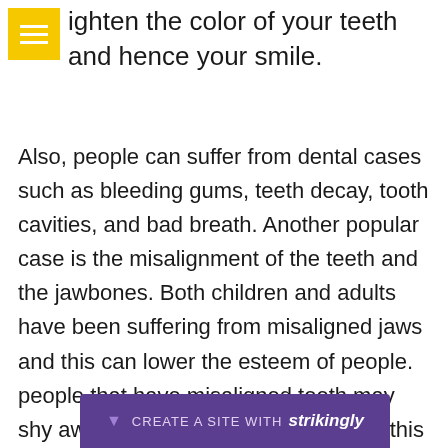[Figure (other): Yellow hamburger menu icon (three horizontal white lines on yellow square background)]
ighten the color of your teeth and hence your smile.
Also, people can suffer from dental cases such as bleeding gums, teeth decay, tooth cavities, and bad breath. Another popular case is the misalignment of the teeth and the jawbones. Both children and adults have been suffering from misaligned jaws and this can lower the esteem of people. people that have misaligned teeth may shy away from speaking in public and this affects their self-esteem. People that want to regain their confidence while talking, smiling, and eating shou... teet...
[Figure (other): Purple Strikingly website builder banner bar at the bottom with text CREATE A SITE WITH strikingly]